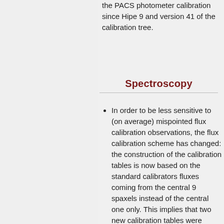the PACS photometer calibration since Hipe 9 and version 41 of the calibration tree.
Spectroscopy
In order to be less sensitive to (on average) mispointed flux calibration observations, the flux calibration scheme has changed: the construction of the calibration tables is now based on the standard calibrators fluxes coming from the central 9 spaxels instead of the central one only. This implies that two new calibration tables were introduced in the